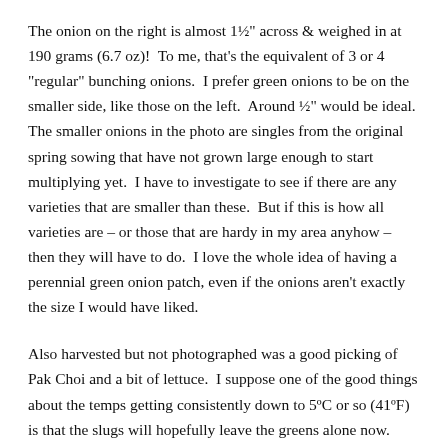The onion on the right is almost 1½" across & weighed in at 190 grams (6.7 oz)!  To me, that's the equivalent of 3 or 4 "regular" bunching onions.  I prefer green onions to be on the smaller side, like those on the left.  Around ½" would be ideal.  The smaller onions in the photo are singles from the original spring sowing that have not grown large enough to start multiplying yet.  I have to investigate to see if there are any varieties that are smaller than these.  But if this is how all varieties are – or those that are hardy in my area anyhow – then they will have to do.  I love the whole idea of having a perennial green onion patch, even if the onions aren't exactly the size I would have liked.
Also harvested but not photographed was a good picking of Pak Choi and a bit of lettuce.  I suppose one of the good things about the temps getting consistently down to 5ºC or so (41ºF) is that the slugs will hopefully leave the greens alone now.